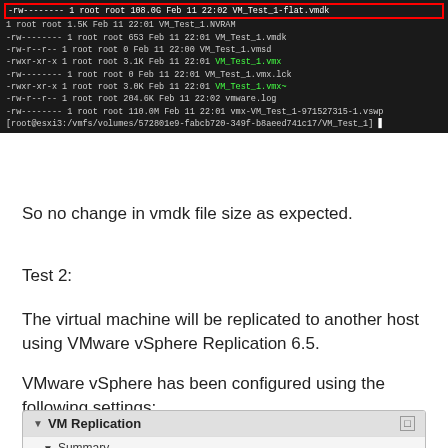[Figure (screenshot): Terminal output showing directory listing of VM files. The top row (-rw-------- 1 root root 108.0G Feb 11 22:02 VM_Test_1-flat.vmdk) is highlighted with a red border. Several file entries including .vmdk, .vmsd, .vmx (green), .vmx.lck, .vmx~ (green), vmware.log, and .vswp files are listed. A shell prompt is shown at the bottom.]
So no change in vmdk file size as expected.
Test 2:
The virtual machine will be replicated to another host using VMware vSphere Replication 6.5.
VMware vSphere has been configured using the following settings:
[Figure (screenshot): VM Replication panel showing Summary section with Replication status: Initial Full Sync]